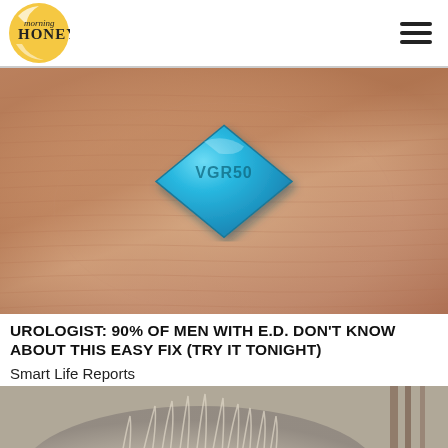morning HONEY
[Figure (photo): Close-up photo of a blue diamond-shaped pill labeled VGR 50 resting on a human fingertip, showing skin ridges/fingerprint texture in warm skin tones.]
UROLOGIST: 90% OF MEN WITH E.D. DON'T KNOW ABOUT THIS EASY FIX (TRY IT TONIGHT)
Smart Life Reports
[Figure (photo): Partial photo of a fluffy white/grey animal (likely a cat or dog) visible at the bottom of the page.]